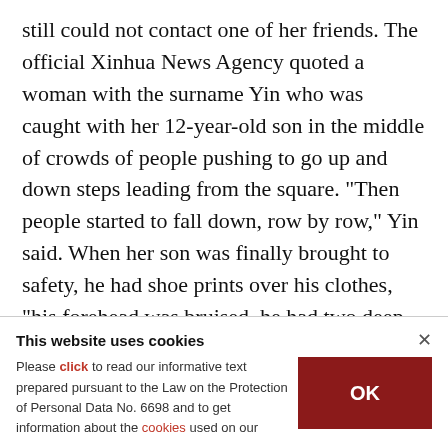still could not contact one of her friends. The official Xinhua News Agency quoted a woman with the surname Yin who was caught with her 12-year-old son in the middle of crowds of people pushing to go up and down steps leading from the square. "Then people started to fall down, row by row," Yin said. When her son was finally brought to safety, he had shoe prints over his clothes, "his forehead was bruised, he had two deep creased scars on his neck, and his mouth and nose were bleeding," she said.
This website uses cookies
Please click to read our informative text prepared pursuant to the Law on the Protection of Personal Data No. 6698 and to get information about the cookies used on our